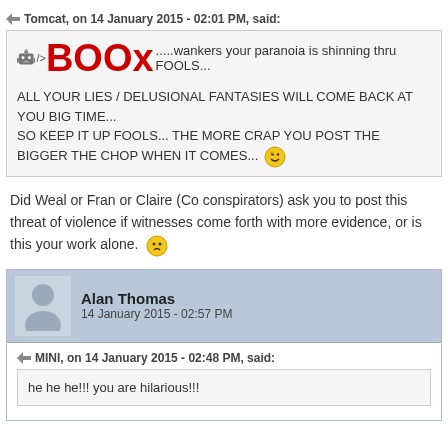Tomcat, on 14 January 2015 - 02:01 PM, said:
BOOx.....wankers your paranoia is shinning thru FOOLS...

ALL YOUR LIES / DELUSIONAL FANTASIES WILL COME BACK AT YOU BIG TIME...
SO KEEP IT UP FOOLS... THE MORE CRAP YOU POST THE BIGGER THE CHOP WHEN IT COMES...
Did Weal or Fran or Claire (Co conspirators) ask you to post this threat of violence if witnesses come forth with more evidence, or is this your work alone.
Alan Thomas
14 January 2015 - 02:57 PM
MINI, on 14 January 2015 - 02:48 PM, said:
he he he!!! you are hilarious!!!